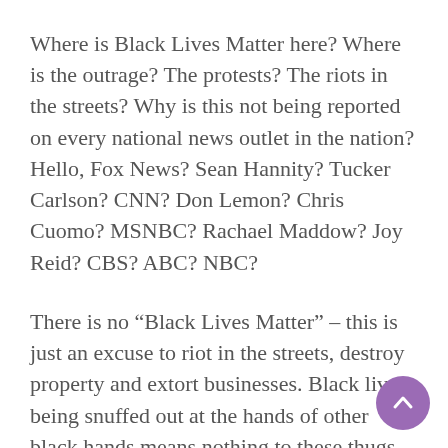Where is Black Lives Matter here? Where is the outrage? The protests? The riots in the streets? Why is this not being reported on every national news outlet in the nation? Hello, Fox News? Sean Hannity? Tucker Carlson? CNN? Don Lemon? Chris Cuomo? MSNBC? Rachael Maddow? Joy Reid? CBS? ABC? NBC?
There is no “Black Lives Matter” – this is just an excuse to riot in the streets, destroy property and extort businesses. Black lives being snuffed out at the hands of other black hands means nothing to these thugs. The lives taken every weekend on the streets of the southside of Chicago, or many areas of